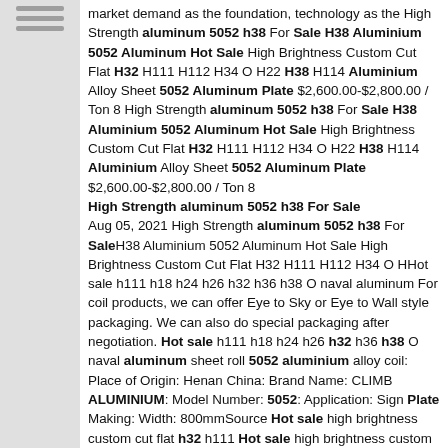market demand as the foundation, technology as the High Strength aluminum 5052 h38 For Sale H38 Aluminium 5052 Aluminum Hot Sale High Brightness Custom Cut Flat H32 H111 H112 H34 O H22 H38 H114 Aluminium Alloy Sheet 5052 Aluminum Plate $2,600.00-$2,800.00 / Ton 8 High Strength aluminum 5052 h38 For Sale H38 Aluminium 5052 Aluminum Hot Sale High Brightness Custom Cut Flat H32 H111 H112 H34 O H22 H38 H114 Aluminium Alloy Sheet 5052 Aluminum Plate $2,600.00-$2,800.00 / Ton 8 High Strength aluminum 5052 h38 For Sale Aug 05, 2021 High Strength aluminum 5052 h38 For SaleH38 Aluminium 5052 Aluminum Hot Sale High Brightness Custom Cut Flat H32 H111 H112 H34 O HHot sale h111 h18 h24 h26 h32 h36 h38 O naval aluminum For coil products, we can offer Eye to Sky or Eye to Wall style packaging. We can also do special packaging after negotiation. Hot sale h111 h18 h24 h26 h32 h36 h38 O naval aluminum sheet roll 5052 aluminium alloy coil: Place of Origin: Henan China: Brand Name: CLIMB ALUMINIUM: Model Number: 5052: Application: Sign Plate Making: Width: 800mmSource Hot sale high brightness custom cut flat h32 h111 Hot sale high brightness custom cut flat h32 h111 h112 h34 O h22 h38 h114 aluminium alloy sheet 5052 aluminum plate, You can get more details about from mobile site on m.alibaba Source Hot sale high brightness custom cut flat h32 h111